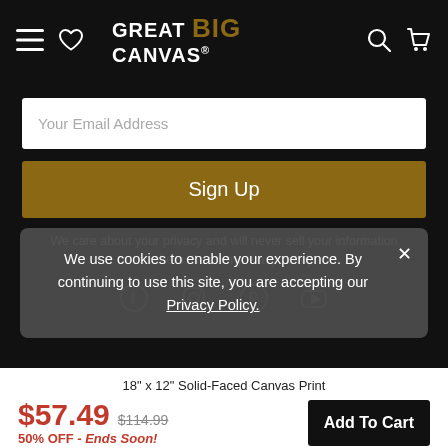[Figure (logo): Great BIG Canvas logo in white and gold on black navigation bar with hamburger menu, heart icon, search icon, and cart icon]
Your Email Address
Sign Up
We care about your privacy and will never sell your information to others. See our privacy policy
We use cookies to enable your experience. By continuing to use this site, you are accepting our Privacy Policy.
18" x 12" Solid-Faced Canvas Print
$57.49  $114.99
50% OFF - Ends Soon!
Add To Cart